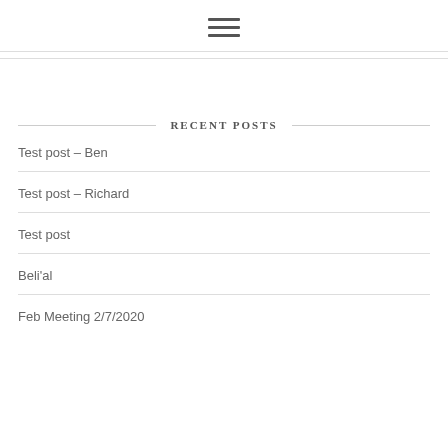☰ (hamburger menu icon)
RECENT POSTS
Test post – Ben
Test post – Richard
Test post
Beli'al
Feb Meeting 2/7/2020